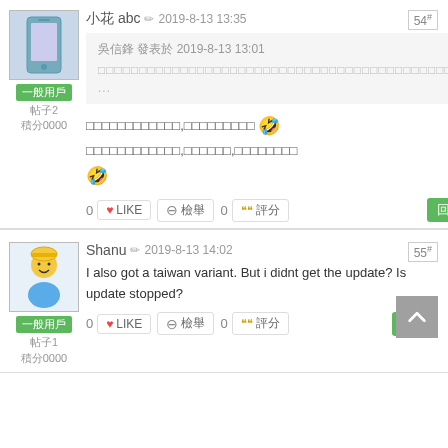[Figure (screenshot): Forum post #54 by user 小花 abc with avatar image of a blue phone device, user tag 一般用戶, 帖子2, 積分0000. Post dated 2019-8-13 13:35. Quoted post from 吴信锋 at 2019-8-13 13:01 with garbled text. Post body with garbled Chinese text and rolling emoji. Action bar with LIKE, 檢舉, 評分 buttons and 回應 reply button.]
[Figure (screenshot): Forum post #55 by user Shanu with yellow avatar, user tag 一般用戶, 帖子1, 積分0000. Post dated 2019-8-13 14:02. Post body: I also got a taiwan variant. But i didnt get the update? Is update stopped? Action bar with LIKE, 檢舉, 評分 buttons and 回應 reply button. Scroll-to-top arrow button.]